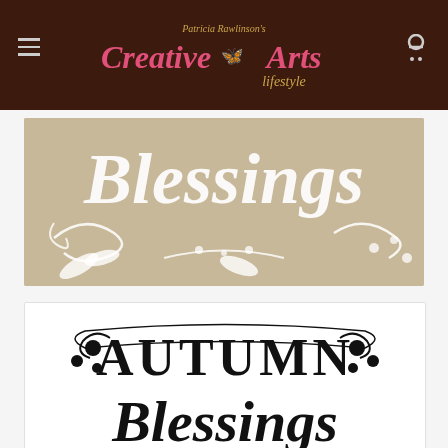Patricia Rawlinson's Creative Arts Lifestyle
[Figure (photo): Beige stencil showing cursive 'Blessings' text with decorative leaf and berry flourishes on a tan/beige background]
[Figure (photo): White background stencil showing serif 'AUTUMN' text above cursive 'Blessings' text with decorative berry and scroll corner ornaments in black]